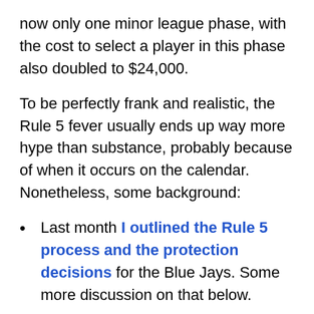now only one minor league phase, with the cost to select a player in this phase also doubled to $24,000.
To be perfectly frank and realistic, the Rule 5 fever usually ends up way more hype than substance, probably because of when it occurs on the calendar. Nonetheless, some background:
Last month I outlined the Rule 5 process and the protection decisions for the Blue Jays. Some more discussion on that below.
For more background on the Rule 5 and more Blue Jays history, this post from 2014 is useful. Mark Shapiro's Rule 5 history in Cleveland was detailed in 2016.
Note: Conducted literally in accordance with Major League Rule 5 with the Rule 5 Draft at the Rule Y...